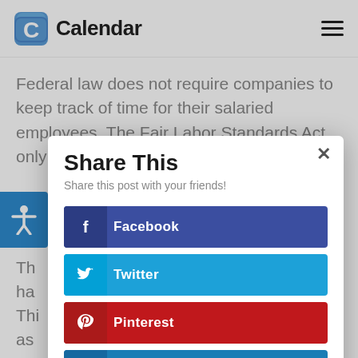Calendar
Federal law does not require companies to keep track of time for their salaried employees. The Fair Labor Standards Act only requires time mo...
[Figure (screenshot): Share This modal dialog with social sharing buttons for Facebook, Twitter, Pinterest, and LinkedIn]
Th... ne ha...
Thi... e'll as... h.